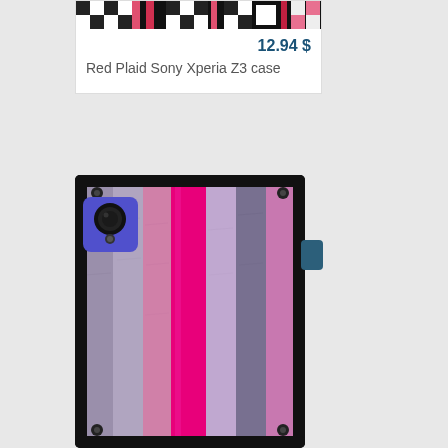[Figure (photo): Product card showing Red Plaid Sony Xperia Z3 case with plaid pattern thumbnail at top, price 12.94 $ and product title]
12.94 $
Red Plaid Sony Xperia Z3 case
[Figure (photo): Sony Xperia Z3 phone case with pink/purple/magenta wooden planks pattern design, shown on a phone model with black case frame]